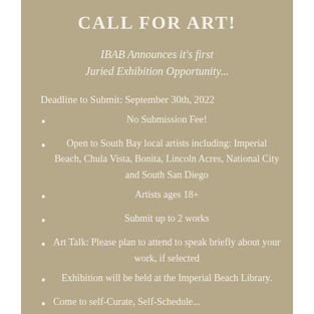CALL FOR ART!
IBAB Announces it's first Juried Exhibition Opportunity...
Deadline to Submit: September 30th, 2022
No Submission Fee!
Open to South Bay local artists including: Imperial Beach, Chula Vista, Bonita, Lincoln Acres, National City and South San Diego
Artists ages 18+
Submit up to 2 works
Art Talk: Please plan to attend to speak briefly about your work, if selected
Exhibition will be held at the Imperial Beach Library.
Come to self-Curate, Self-Schedule...